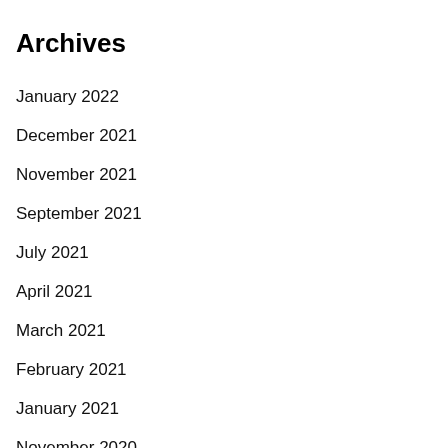Archives
January 2022
December 2021
November 2021
September 2021
July 2021
April 2021
March 2021
February 2021
January 2021
November 2020
October 2020
September 2020
August 2020